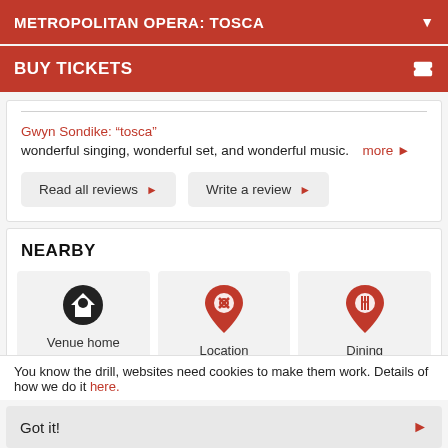METROPOLITAN OPERA: TOSCA
BUY TICKETS
Gwyn Sondike: “tosca”
wonderful singing, wonderful set, and wonderful music. more ▶
Read all reviews ▶
Write a review ▶
NEARBY
[Figure (infographic): Three nearby category icons: Venue home (star in circle), Location (map pin with camera), Dining (map pin with fork and knife)]
You know the drill, websites need cookies to make them work. Details of how we do it here.
Got it!